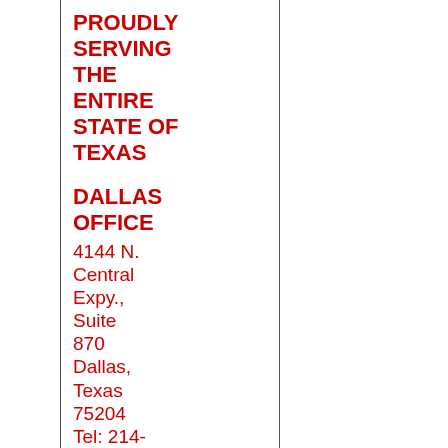PROUDLY SERVING THE ENTIRE STATE OF TEXAS
DALLAS OFFICE
4144 N. Central Expy., Suite 870 Dallas, Texas 75204 Tel: 214-691-6200 Toll Free: 855-